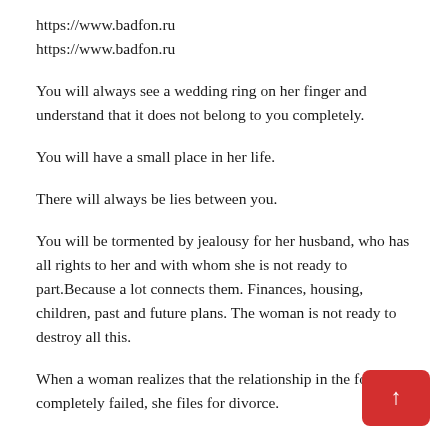https://www.badfon.ru
https://www.badfon.ru
You will always see a wedding ring on her finger and understand that it does not belong to you completely.
You will have a small place in her life.
There will always be lies between you.
You will be tormented by jealousy for her husband, who has all rights to her and with whom she is not ready to part.Because a lot connects them. Finances, housing, children, past and future plans. The woman is not ready to destroy all this.
When a woman realizes that the relationship in the fo... as completely failed, she files for divorce.